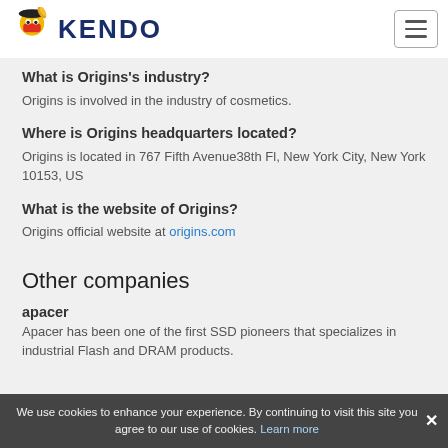KENDO
What is Origins's industry?
Origins is involved in the industry of cosmetics.
Where is Origins headquarters located?
Origins is located in 767 Fifth Avenue38th Fl, New York City, New York 10153, US
What is the website of Origins?
Origins official website at origins.com
Other companies
apacer
Apacer has been one of the first SSD pioneers that specializes in industrial Flash and DRAM products.
We use cookies to enhance your experience. By continuing to visit this site you agree to our use of cookies. Learn more